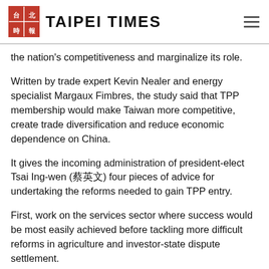TAIPEI TIMES
the nation's competitiveness and marginalize its role.
Written by trade expert Kevin Nealer and energy specialist Margaux Fimbres, the study said that TPP membership would make Taiwan more competitive, create trade diversification and reduce economic dependence on China.
It gives the incoming administration of president-elect Tsai Ing-wen (蔡英文) four pieces of advice for undertaking the reforms needed to gain TPP entry.
First, work on the services sector where success would be most easily achieved before tackling more difficult reforms in agriculture and investor-state dispute settlement.
Second, do not consider the TPP as competition with